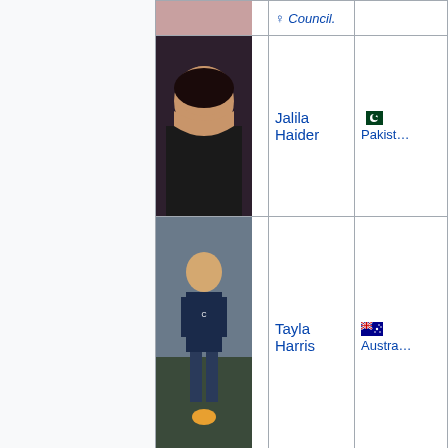| Photo | Name | Country |
| --- | --- | --- |
| [image] | Jalila Haider | 🇵🇰 Pakistan |
| [Tayla Harris image] | Tayla Harris | 🇦🇺 Australia |
|  | Hollie | 🇺🇸 United States |
|  | Huang Wensi | 🇨🇳 China |
|  | Luchita Hurtado | 🇻🇪 Venezuela |